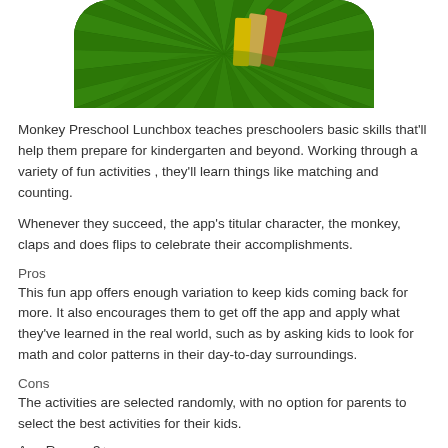[Figure (illustration): Partial view of the Monkey Preschool Lunchbox app icon showing a green circular background with books/leaves design]
Monkey Preschool Lunchbox teaches preschoolers basic skills that'll help them prepare for kindergarten and beyond. Working through a variety of fun activities , they'll learn things like matching and counting.
Whenever they succeed, the app's titular character, the monkey, claps and does flips to celebrate their accomplishments.
Pros
This fun app offers enough variation to keep kids coming back for more. It also encourages them to get off the app and apply what they've learned in the real world, such as by asking kids to look for math and color patterns in their day-to-day surroundings.
Cons
The activities are selected randomly, with no option for parents to select the best activities for their kids.
Age Range: 3+